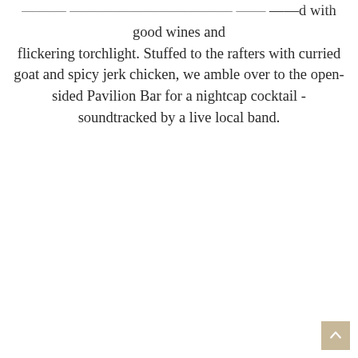...with good wines and flickering torchlight. Stuffed to the rafters with curried goat and spicy jerk chicken, we amble over to the open-sided Pavilion Bar for a nightcap cocktail - soundtracked by a live local band.